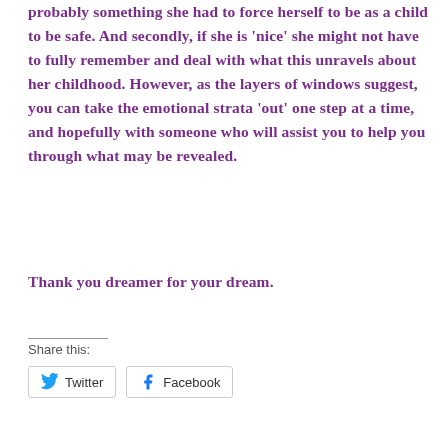probably something she had to force herself to be as a child to be safe. And secondly, if she is 'nice' she might not have to fully remember and deal with what this unravels about her childhood. However, as the layers of windows suggest, you can take the emotional strata 'out' one step at a time, and hopefully with someone who will assist you to help you through what may be revealed.
Thank you dreamer for your dream.
Share this:
Twitter  Facebook